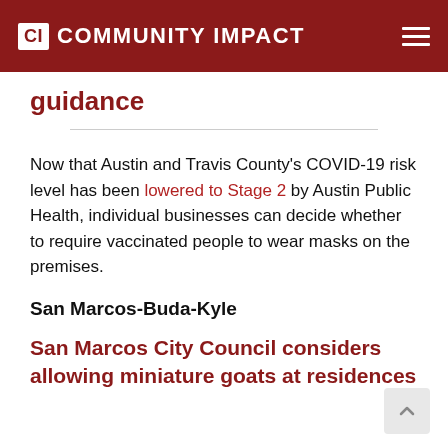CI COMMUNITY IMPACT
guidance
Now that Austin and Travis County's COVID-19 risk level has been lowered to Stage 2 by Austin Public Health, individual businesses can decide whether to require vaccinated people to wear masks on the premises.
San Marcos-Buda-Kyle
San Marcos City Council considers allowing miniature goats at residences